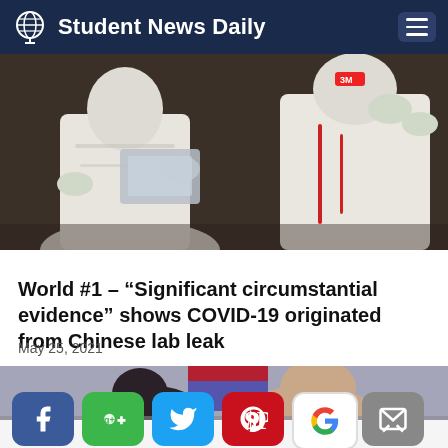Student News Daily
[Figure (photo): Two people in white hazmat/protective suits and gloves handling equipment, likely in a medical or laboratory setting related to COVID-19]
World #1 – “Significant circumstantial evidence” shows COVID-19 originated from Chinese lab leak
May 25, 2021
[Figure (photo): Partial image of people at what appears to be a meeting or press conference, showing heads/upper bodies]
[Figure (infographic): Social media sharing buttons: Facebook, Google Plus, Twitter, Pinterest, Google, Email]